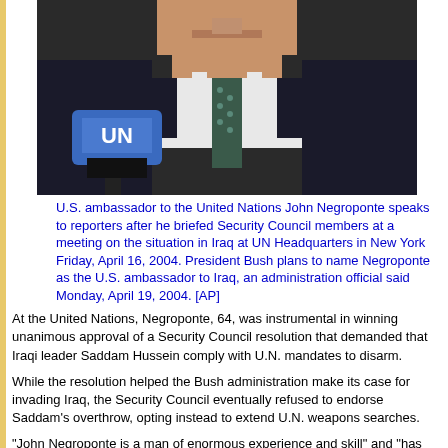[Figure (photo): U.S. ambassador John Negroponte speaking into a blue UN microphone, wearing a dark pinstripe suit and patterned tie, photographed from chest up.]
U.S. ambassador to the United Nations John Negroponte speaks to reporters after he briefed Security Council members at a meeting on the situation in Iraq at UN Headquarters in New York Friday, April 16, 2004. President Bush plans to name Negroponte as the U.S. ambassador to Iraq, an administration official said Monday, April 19, 2004. [AP]
At the United Nations, Negroponte, 64, was instrumental in winning unanimous approval of a Security Council resolution that demanded that Iraqi leader Saddam Hussein comply with U.N. mandates to disarm.
While the resolution helped the Bush administration make its case for invading Iraq, the Security Council eventually refused to endorse Saddam's overthrow, opting instead to extend U.N. weapons searches.
"John Negroponte is a man of enormous experience and skill" and "has done a really good job of speaking for the United States to the world about our intentions to spread freedom and peace," said Bush.
Regarding Negroponte's new post, the president said there is "no doubt in my mind he can